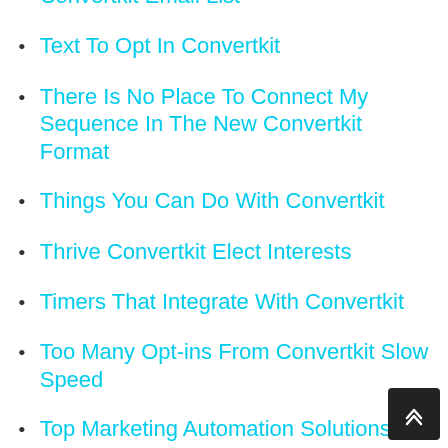Convertkit Email List
Text To Opt In Convertkit
There Is No Place To Connect My Sequence In The New Convertkit Format
Things You Can Do With Convertkit
Thrive Convertkit Elect Interests
Timers That Integrate With Convertkit
Too Many Opt-ins From Convertkit Slow Speed
Top Marketing Automation Solutions Convertkit
Transition From Mailchimp To Convertkit
Udemy Convertkit With WordPress